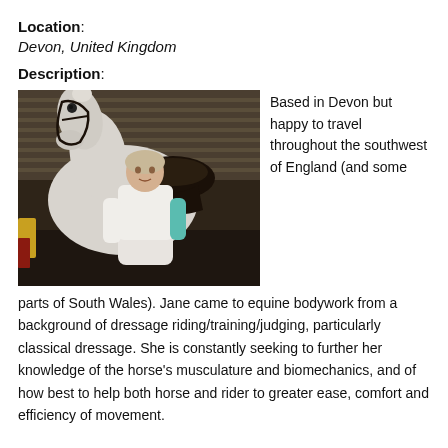Location:
Devon, United Kingdom
Description:
[Figure (photo): A woman standing next to a white horse with a dark saddle, inside what appears to be a stable or barn.]
Based in Devon but happy to travel throughout the southwest of England (and some parts of South Wales). Jane came to equine bodywork from a background of dressage riding/training/judging, particularly classical dressage. She is constantly seeking to further her knowledge of the horse's musculature and biomechanics, and of how best to help both horse and rider to greater ease, comfort and efficiency of movement.